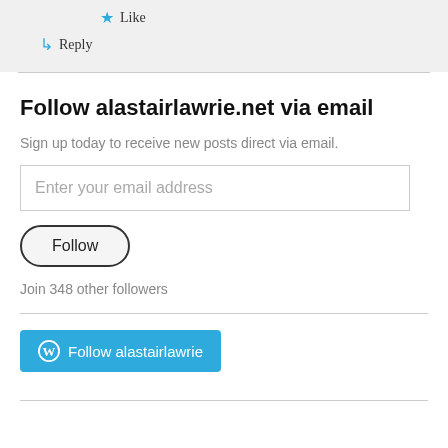★ Like
↳ Reply
Follow alastairlawrie.net via email
Sign up today to receive new posts direct via email.
Enter your email address
Follow
Join 348 other followers
Follow alastairlawrie